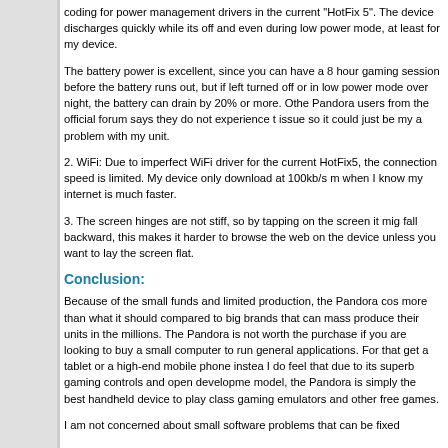coding for power management drivers in the current "HotFix 5". The device discharges quickly while its off and even during low power mode, at least for my device.
The battery power is excellent, since you can have a 8 hour gaming session before the battery runs out, but if left turned off or in low power mode over night, the battery can drain by 20% or more. Other Pandora users from the official forum says they do not experience this issue so it could just be my a problem with my unit.
2. WiFi: Due to imperfect WiFi driver for the current HotFix5, the connection speed is limited. My device only download at 100kb/s max when I know my internet is much faster.
3. The screen hinges are not stiff, so by tapping on the screen it might fall backward, this makes it harder to browse the web on the device unless you want to lay the screen flat.
Conclusion:
Because of the small funds and limited production, the Pandora cost more than what it should compared to big brands that can mass produce their units in the millions. The Pandora is not worth the purchase if you are looking to buy a small computer to run general applications. For that get a tablet or a high-end mobile phone instead. I do feel that due to its superb gaming controls and open development model, the Pandora is simply the best handheld device to play classic gaming emulators and other free games.
I am not concerned about small software problems that can be fixed